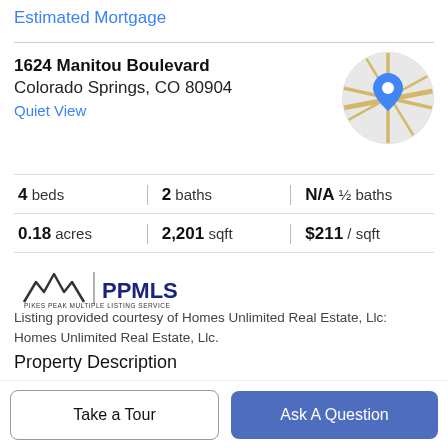Estimated Mortgage
1624 Manitou Boulevard
Colorado Springs, CO 80904
Quiet View
[Figure (map): Circular map thumbnail showing street map with blue location pin marker]
| 4 beds | 2 baths | N/A ½ baths |
| 0.18 acres | 2,201 sqft | $211 / sqft |
[Figure (logo): Pikes Peak Multiple Listing Service (PPMLS) logo with mountain peaks icon]
Listing provided courtesy of Homes Unlimited Real Estate, Llc: Homes Unlimited Real Estate, Llc.
Property Description
Great opportunity on the desirable West Side of town! This
Take a Tour
Ask A Question